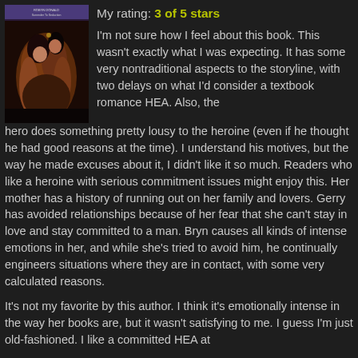[Figure (photo): Book cover for 'Surrender To Seduction' by Robyn Donald, showing a romantic couple embracing]
My rating: 3 of 5 stars
I'm not sure how I feel about this book. This wasn't exactly what I was expecting. It has some very nontraditional aspects to the storyline, with two delays on what I'd consider a textbook romance HEA. Also, the hero does something pretty lousy to the heroine (even if he thought he had good reasons at the time). I understand his motives, but the way he made excuses about it, I didn't like it so much. Readers who like a heroine with serious commitment issues might enjoy this. Her mother has a history of running out on her family and lovers. Gerry has avoided relationships because of her fear that she can't stay in love and stay committed to a man. Bryn causes all kinds of intense emotions in her, and while she's tried to avoid him, he continually engineers situations where they are in contact, with some very calculated reasons.
It's not my favorite by this author. I think it's emotionally intense in the way her books are, but it wasn't satisfying to me. I guess I'm just old-fashioned. I like a committed HEA at